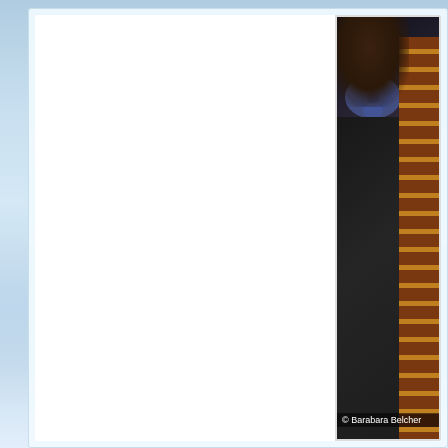[Figure (photo): Dark image showing airplane seats with flower decoration and striped seat back, with copyright text '© Barabara Belcher']
at February 14, 2019    No comments:
Tuesday, February 12, 2019
AIRPORT DOOM! AOC Supporter? Bare Brea... Flights To Be Cancelled!